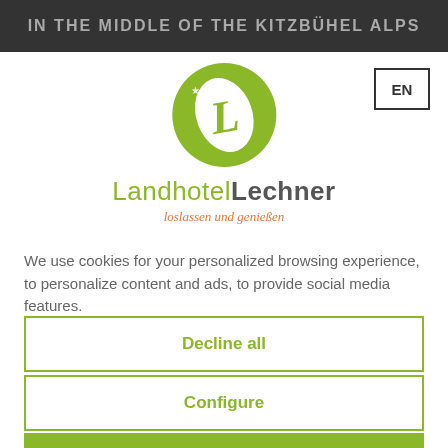IN THE MIDDLE OF THE KITZBÜHEL ALPS
[Figure (logo): Landhotel Lechner logo — green circle with white letter L and stars, text 'LandhotelLechner' and tagline 'loslassen und genießen']
EN
We use cookies for your personalized browsing experience, to personalize content and ads, to provide social media features.
Decline all
Configure
Accept all